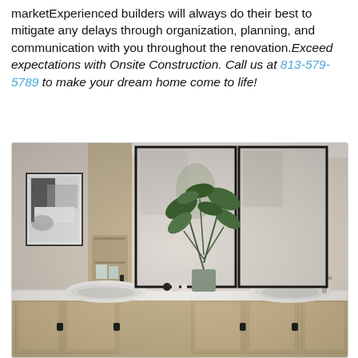marketExperienced builders will always do their best to mitigate any delays through organization, planning, and communication with you throughout the renovation. Exceed expectations with Onsite Construction. Call us at 813-579-5789 to make your dream home come to life!
[Figure (photo): Modern bathroom vanity with light wood cabinets, white vessel sinks, large mirrors, green plant, and framed artwork on the wall]